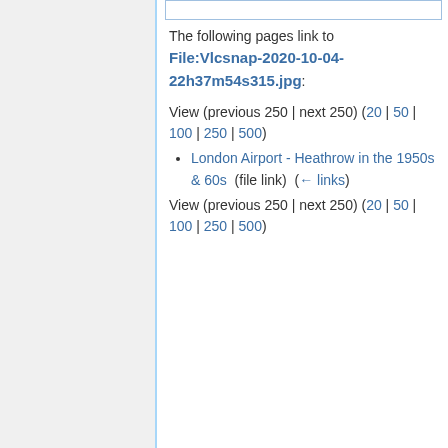The following pages link to File:Vlcsnap-2020-10-04-22h37m54s315.jpg:
View (previous 250 | next 250) (20 | 50 | 100 | 250 | 500)
London Airport - Heathrow in the 1950s & 60s (file link) (← links)
View (previous 250 | next 250) (20 | 50 | 100 | 250 | 500)
[Figure (logo): Aviation Top 100 badge and Avitop.com logo]
Privacy policy
About The Internet Movie Plane Database
Disclaimers
[Figure (logo): Powered by MediaWiki badge]